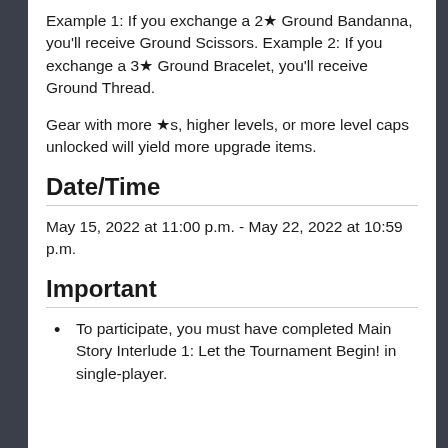Example 1: If you exchange a 2★ Ground Bandanna, you'll receive Ground Scissors. Example 2: If you exchange a 3★ Ground Bracelet, you'll receive Ground Thread.
Gear with more ★s, higher levels, or more level caps unlocked will yield more upgrade items.
Date/Time
May 15, 2022 at 11:00 p.m. - May 22, 2022 at 10:59 p.m.
Important
To participate, you must have completed Main Story Interlude 1: Let the Tournament Begin! in single-player.